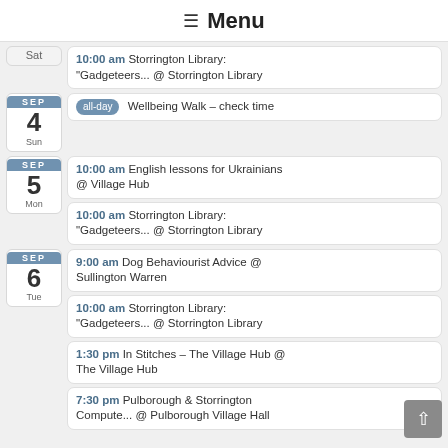≡ Menu
Sat | 10:00 am Storrington Library: "Gadgeteers... @ Storrington Library
SEP 4 Sun | all-day Wellbeing Walk – check time
SEP 5 Mon | 10:00 am English lessons for Ukrainians @ Village Hub
SEP 5 Mon | 10:00 am Storrington Library: "Gadgeteers... @ Storrington Library
SEP 6 Tue | 9:00 am Dog Behaviourist Advice @ Sullington Warren
SEP 6 Tue | 10:00 am Storrington Library: "Gadgeteers... @ Storrington Library
SEP 6 Tue | 1:30 pm In Stitches – The Village Hub @ The Village Hub
SEP 6 Tue | 7:30 pm Pulborough & Storrington Compute... @ Pulborough Village Hall